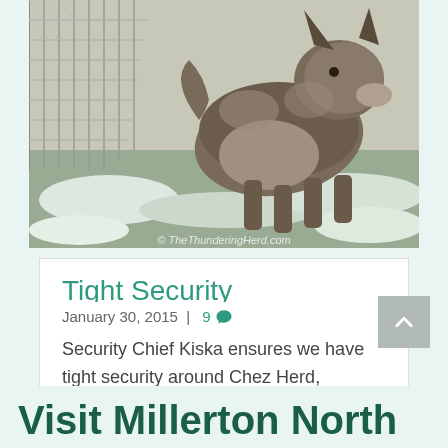[Figure (photo): A fluffy dog (husky type) standing on snowy/grassy ground near a chain-link fence. Watermark reads '© TheThunderingHerd.com']
Tight Security
January 30, 2015  |  9 💬
Security Chief Kiska ensures we have tight security around Chez Herd, demonstrated by her dealings with a visiting pack of coyotes.
Visit Millerton North